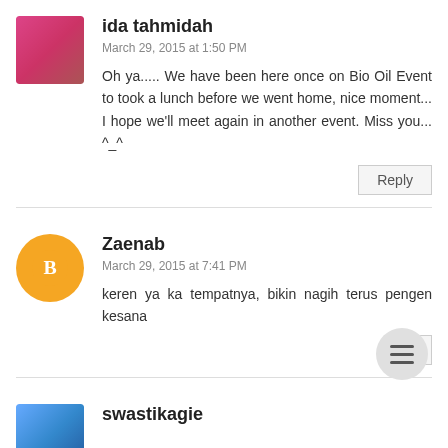[Figure (photo): Avatar photo of ida tahmidah - pink/purple toned profile picture]
ida tahmidah
March 29, 2015 at 1:50 PM
Oh ya..... We have been here once on Bio Oil Event to took a lunch before we went home, nice moment... I hope we'll meet again in another event. Miss you... ^_^
Reply
[Figure (logo): Blogger icon - orange circle with white B letter]
Zaenab
March 29, 2015 at 7:41 PM
keren ya ka tempatnya, bikin nagih terus pengen kesana
[Figure (photo): Avatar photo of swastikagie - outdoor/travel photo]
swastikagie